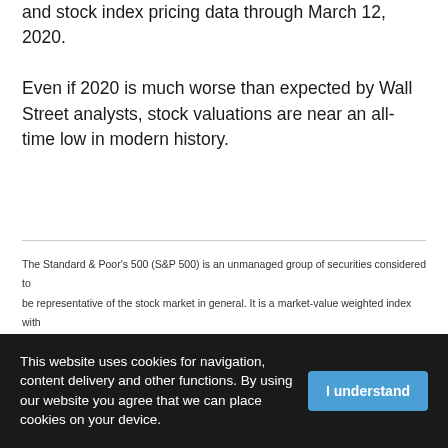and stock index pricing data through March 12, 2020. Even if 2020 is much worse than expected by Wall Street analysts, stock valuations are near an all-time low in modern history.
The Standard & Poor's 500 (S&P 500) is an unmanaged group of securities considered to be representative of the stock market in general. It is a market-value weighted index with each stock's weight proportionate to its market value. Index returns do not include fees or expenses. Investing involves risk, including the loss of principal, and past performance is no guarantee of future results. The investment return and principal value of an investment will fluctuate so that an investor's shares, when redeemed, may be worth more or less than
This website uses cookies for navigation, content delivery and other functions. By using our website you agree that we can place cookies on your device.